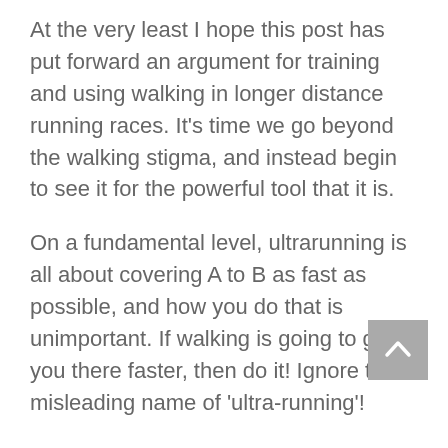At the very least I hope this post has put forward an argument for training and using walking in longer distance running races. It's time we go beyond the walking stigma, and instead begin to see it for the powerful tool that it is.
On a fundamental level, ultrarunning is all about covering A to B as fast as possible, and how you do that is unimportant. If walking is going to get you there faster, then do it! Ignore the misleading name of 'ultra-running'!
Ultimately, walking and running are only two tools in the repertoire of human locomotion, and if we extend this idea further, we soon see the same argument cropping up again